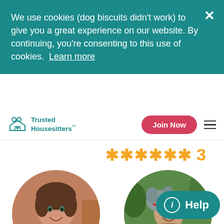We use cookies (dog biscuits didn't work) to give you a great experience on our website. By continuing, you're consenting to this use of cookies. Learn more
Trusted Housesitters™
Join Now
***** 3
[Figure (photo): Circular profile photo of Meghan, a woman with short wavy brown hair smiling, with a cat visible]
Meghan
[Figure (photo): Circular profile photo of Megan, a person smiling while holding a large grey dog]
Megan
Help